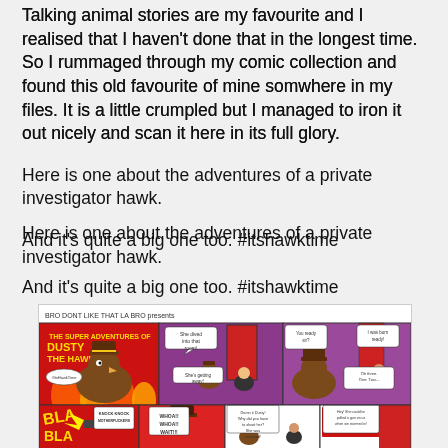Talking animal stories are my favourite and I realised that I haven't done that in the longest time. So I rummaged through my comic collection and found this old favourite of mine somwhere in my files. It is a little crumpled but I managed to iron it out nicely and scan it here in its full glory.
Here is one about the adventures of a private investigator hawk.
And it's quite a big one too. #itshawktime
[Figure (illustration): Comic strip titled 'The Super Adventures of Dusty the Hawk' presented by 'Bro Dont Like That La Bro'. Shows a hawk private investigator character in multiple panels. Top row: left panel shows the hawk with #ItsHawkTime speech bubble; middle panel shows hawk and another character with 'She dived into that room' and 'She's getting away!' speech bubbles; right panel shows characters with 'You ready sir?', 'I was born ready!', 'Oh three. One. Two...' speech bubbles. Bottom row: panels showing action with 'BLAM', 'KNOCK KNOCK MOTHERFUCKERS', 'WHOA!! WHOA!! WAIT!!!', 'Damn it Dusty! Why did you have to shoot her? She was unarmed!', 'Hey! She could've pulled a gun on us when we stormed in!' text.]